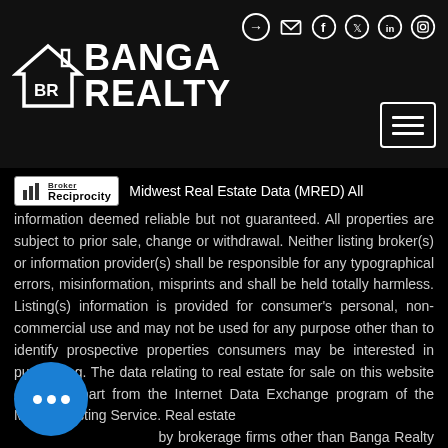Banga Realty
[Figure (logo): Banga Realty logo with house/BR icon and navigation icons including login, email, Facebook, Twitter, LinkedIn, Instagram, and hamburger menu]
Broker Reciprocity Midwest Real Estate Data (MRED) All information deemed reliable but not guaranteed. All properties are subject to prior sale, change or withdrawal. Neither listing broker(s) or information provider(s) shall be responsible for any typographical errors, misinformation, misprints and shall be held totally harmless. Listing(s) information is provided for consumer's personal, non-commercial use and may not be used for any purpose other than to identify prospective properties consumers may be interested in purchasing. The data relating to real estate for sale on this website comes in part from the Internet Data Exchange program of the Multiple Listing Service. Real estate by brokerage firms other than Banga Realty may be marked with the Internet Data Exchange logo and detailed